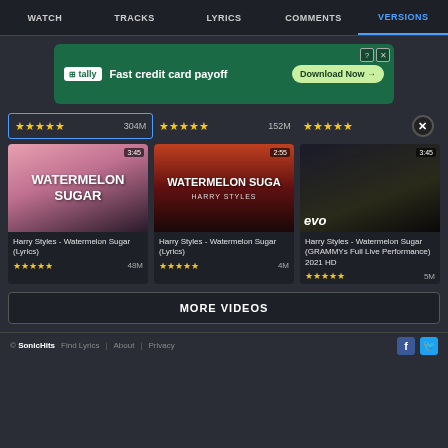WATCH  TRACKS  LYRICS  COMMENTS  VERSIONS
[Figure (screenshot): Tally ad banner: Fast credit card payoff. Download Now button.]
★★★★★  304M  |  ★★★★★  152M  |  ★★★★★  [close]
[Figure (screenshot): Video thumbnail: WATERMELON SUGAR on pink background, duration 3:45]
[Figure (screenshot): Video thumbnail: WATERMELON SUGAR HARRY STYLES on sunset background, duration 2:55]
[Figure (screenshot): Video thumbnail: Harry Styles concert with evo badge, duration 3:45]
Harry Styles - Watermelon Sugar (Lyrics)
★★★★★  48M
Harry Styles - Watermelon Sugar (Lyrics)
★★★★★  4M
Harry Styles - Watermelon Sugar (GRAMMYs Full Live Performance) 2021 HD
★★★★★  5M
MORE VIDEOS
© SonicHits  Find Lyrics  |  About  |  Privacy